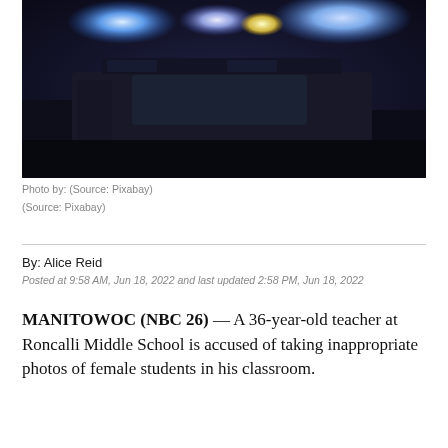[Figure (photo): Police car with blue and yellow flashing lights on top, dark scene, blurred background]
Photo by: (Source: Pixabay)
(Source: Pixabay)
By: Alice Reid
Posted at 9:58 AM, Jun 18, 2022 and last updated 2:58 PM, Jun 18, 2022
MANITOWOC (NBC 26)  — A 36-year-old teacher at Roncalli Middle School is accused of taking inappropriate photos of female students in his classroom.